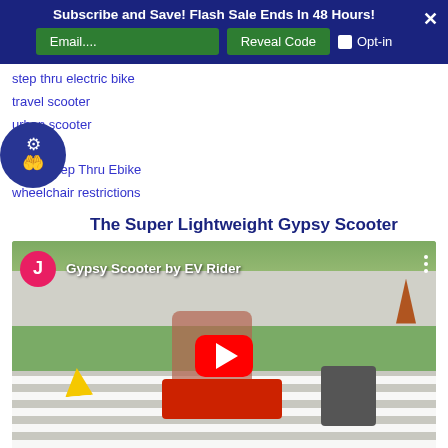Subscribe and Save! Flash Sale Ends In 48 Hours!
step thru electric bike
travel scooter
urban scooter
VELLER
Veller Step Thru Ebike
wheelchair restrictions
The Super Lightweight Gypsy Scooter
[Figure (screenshot): YouTube video thumbnail showing a man riding the Gypsy Scooter by EV Rider on a crosswalk, with a red play button overlay and channel avatar showing 'J' initial]